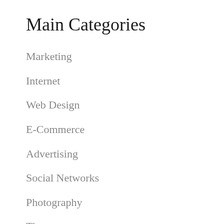Main Categories
Marketing
Internet
Web Design
E-Commerce
Advertising
Social Networks
Photography
Tips